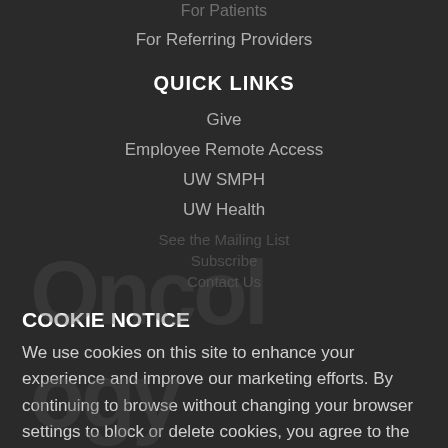For Patients
For Referring Providers
QUICK LINKS
Give
Employee Remote Access
UW SMPH
UW Health
COOKIE NOTICE
We use cookies on this site to enhance your experience and improve our marketing efforts. By continuing to browse without changing your browser settings to block or delete cookies, you agree to the storing of cookies and related technologies on your device. UW–Madison Privacy Notice
GOT IT!